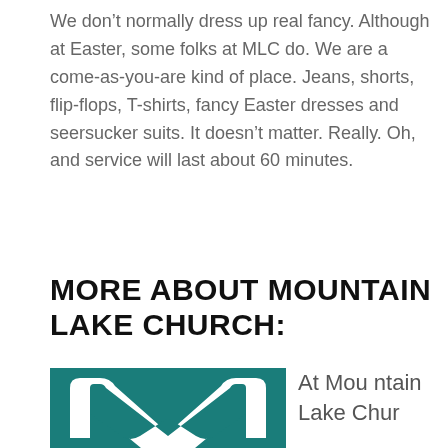We don’t normally dress up real fancy. Although at Easter, some folks at MLC do. We are a come-as-you-are kind of place. Jeans, shorts, flip-flops, T-shirts, fancy Easter dresses and seersucker suits. It doesn’t matter. Really. Oh, and service will last about 60 minutes.
MORE ABOUT MOUNTAIN LAKE CHURCH:
[Figure (logo): Mountain Lake Church logo: teal/dark cyan square background with a white geometric M shape (two arched peaks) forming an envelope-like icon]
At Mountain Lake Chur